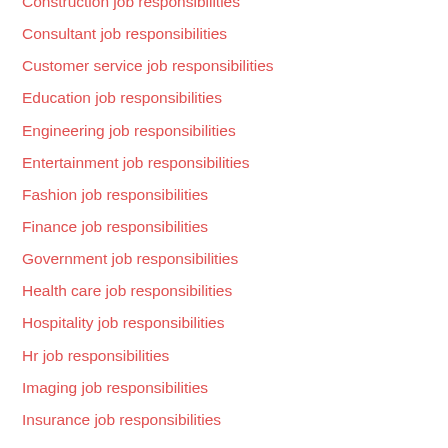Construction job responsibilities
Consultant job responsibilities
Customer service job responsibilities
Education job responsibilities
Engineering job responsibilities
Entertainment job responsibilities
Fashion job responsibilities
Finance job responsibilities
Government job responsibilities
Health care job responsibilities
Hospitality job responsibilities
Hr job responsibilities
Imaging job responsibilities
Insurance job responsibilities